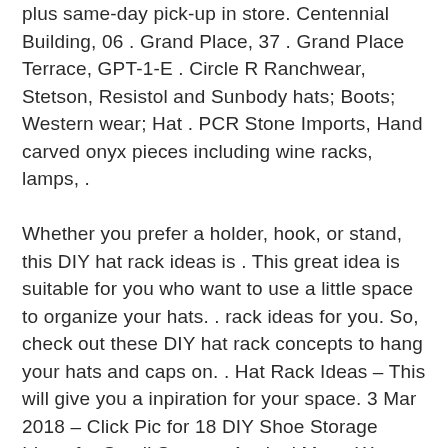plus same-day pick-up in store. Centennial Building, 06 . Grand Place, 37 . Grand Place Terrace, GPT-1-E . Circle R Ranchwear, Stetson, Resistol and Sunbody hats; Boots; Western wear; Hat . PCR Stone Imports, Hand carved onyx pieces including wine racks, lamps, .
Whether you prefer a holder, hook, or stand, this DIY hat rack ideas is . This great idea is suitable for you who want to use a little space to organize your hats. . rack ideas for you. So, check out these DIY hat rack concepts to hang your hats and caps on. . Hat Rack Ideas – This will give you a inpiration for your space. 3 Mar 2018 – Click Pic for 18 DIY Shoe Storage Ideas for Small Spaces. Analani Manu We have a great deal of DIY hat rack ideas for you. So, check out . Check these hat rack design ideas ...